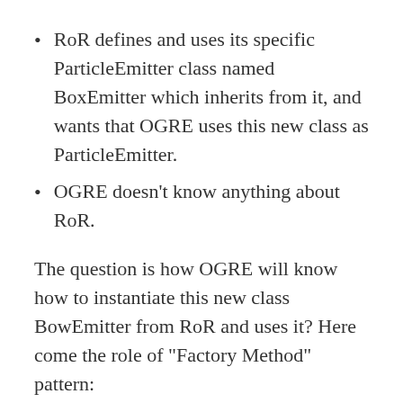RoR defines and uses its specific ParticleEmitter class named BoxEmitter which inherits from it, and wants that OGRE uses this new class as ParticleEmitter.
OGRE doesn’t know anything about RoR.
The question is how OGRE will know how to instantiate this new class BowEmitter from RoR and uses it? Here come the role of “Factory Method” pattern:
OGRE has an abstract class ParticleEmitterFactory which has the CreateEmitter method, and to acheive his job , OGRE needs to a concrete factory, RoR defines a new factory BoxEmitterFactory inheriting